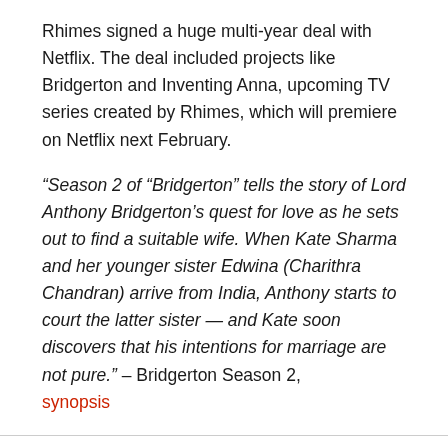Rhimes signed a huge multi-year deal with Netflix. The deal included projects like Bridgerton and Inventing Anna, upcoming TV series created by Rhimes, which will premiere on Netflix next February.
“Season 2 of “Bridgerton” tells the story of Lord Anthony Bridgerton’s quest for love as he sets out to find a suitable wife. When Kate Sharma and her younger sister Edwina (Charithra Chandran) arrive from India, Anthony starts to court the latter sister — and Kate soon discovers that his intentions for marriage are not pure.” – Bridgerton Season 2, synopsis